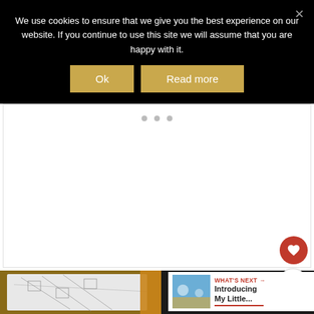We use cookies to ensure that we give you the best experience on our website. If you continue to use this site we will assume that you are happy with it.
[Figure (screenshot): Cookie consent banner with dark background, two gold buttons labeled 'Ok' and 'Read more', and a close X button]
[Figure (screenshot): White content area with three gray dots indicating a loading or carousel indicator, heart and share floating action buttons on the right side]
[Figure (photo): Product photo showing a patterned fabric/blanket with geometric designs in gray and white with a mustard/golden yellow border, on a dark background]
WHAT'S NEXT → Introducing My Little...